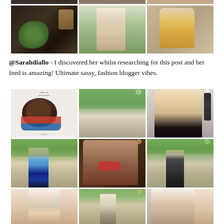[Figure (photo): Instagram grid showing partial top row of 3 photos - fashion/lifestyle content]
[Figure (photo): Instagram grid row 2: three photos - decorative item, mirror selfie, food/snack bag]
@Sarahdiallo - I discovered her whilst researching for this post and her feed is amazing! Ultimate sassy, fashion blogger vibes.
[Figure (photo): Instagram grid for @Sarahdiallo showing 9 posts: illustration post, outdoor fashion shots, portrait close-ups, street style photos]